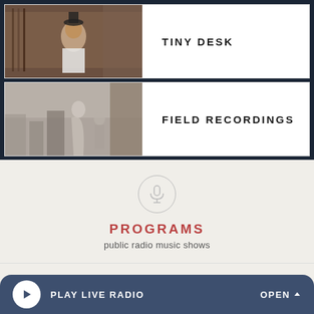[Figure (photo): Photo of musicians performing at Tiny Desk concert]
TINY DESK
[Figure (photo): Black and white photo of people on a rooftop or fire escape for Field Recordings]
FIELD RECORDINGS
[Figure (other): Microphone icon in a circle]
PROGRAMS
public radio music shows
all songs considered
Alt Latino
PLAY LIVE RADIO
OPEN